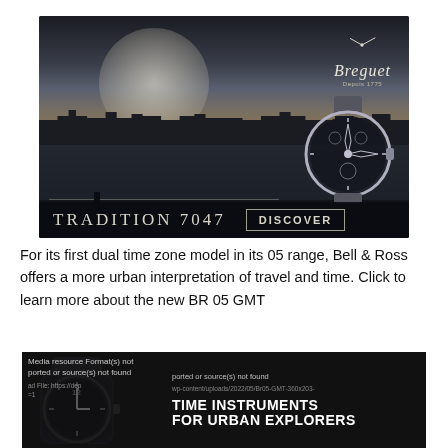[Figure (illustration): Breguet Tradition 7047 watch advertisement. Dark atmospheric photo of a waterfront city at night with a large glowing moon. Breguet logo top right with watch hands illustration. A skeleton watch shown bottom right. Bottom bar reads 'TRADITION 7047' and 'DISCOVER' button.]
For its first dual time zone model in its 05 range, Bell & Ross offers a more urban interpretation of travel and time. Click to learn more about the new BR 05 GMT
[Figure (photo): Bell & Ross BR 05 GMT advertisement. Dark background with watch image on left. Error overlay text visible: 'Media resource Format(s) not supported or source(s) not found' and URL path. Right side shows text 'TIME INSTRUMENTS FOR URBAN EXPLORERS' in bold white uppercase.]